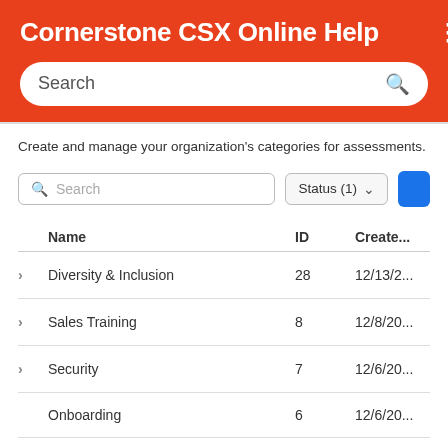Cornerstone CSX Online Help
Create and manage your organization's categories for assessments.
| Name | ID | Created |
| --- | --- | --- |
| Diversity & Inclusion | 28 | 12/13/2... |
| Sales Training | 8 | 12/8/20... |
| Security | 7 | 12/6/20... |
| Onboarding | 6 | 12/6/20... |